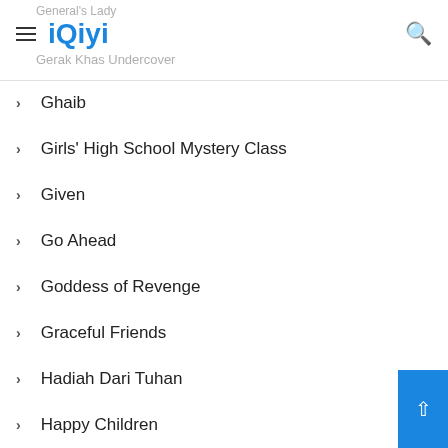iQiyi — General's Lady · Findi · Gerak Khas Undercover
Ghaib
Girls' High School Mystery Class
Given
Go Ahead
Goddess of Revenge
Graceful Friends
Hadiah Dari Tuhan
Happy Children
Harith Fayyadh
Hasrat Tersirat
Hati Yang Dikhianati
Hati Yang Tersakiti